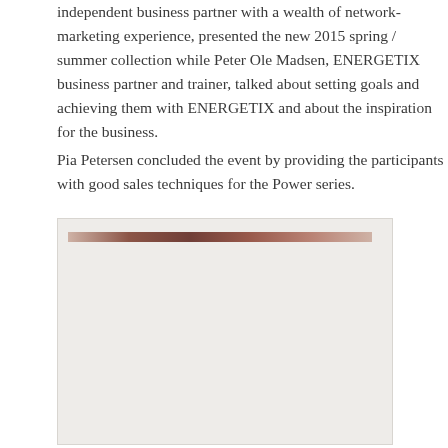independent business partner with a wealth of network-marketing experience, presented the new 2015 spring / summer collection while Peter Ole Madsen, ENERGETIX business partner and trainer, talked about setting goals and achieving them with ENERGETIX and about the inspiration for the business.
Pia Petersen concluded the event by providing the participants with good sales techniques for the Power series.
[Figure (photo): A photograph showing what appears to be people at an event, with a thin horizontal strip visible near the top of the image area. The image is rendered against a light gray background.]